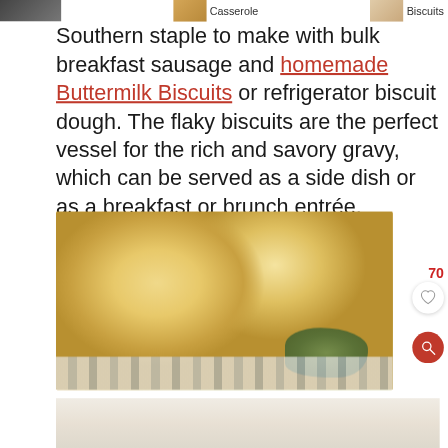Casserole | Biscuits
Southern staple to make with bulk breakfast sausage and homemade Buttermilk Biscuits or refrigerator biscuit dough. The flaky biscuits are the perfect vessel for the rich and savory gravy, which can be served as a side dish or as a breakfast or brunch entrée.
[Figure (photo): Close-up photo of golden flaky homemade buttermilk biscuits with fresh sage leaves and a striped cloth napkin in the background]
[Figure (photo): Partial view of a dish below the main biscuit photo, partially cut off at bottom of page]